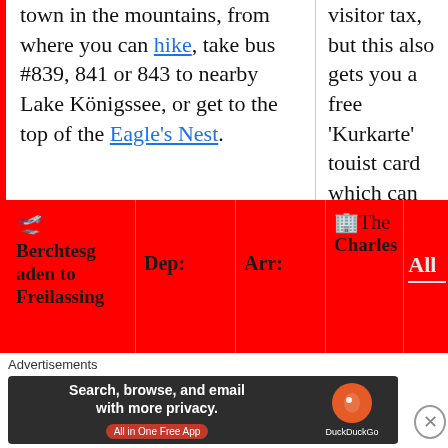town in the mountains, from where you can hike, take bus #839, 841 or 843 to nearby Lake Königssee, or get to the top of the Eagle's Nest.
visitor tax, but this also gets you a free 'Kurkarte' touist card which can be used on most local buses.
| Berchtesgaden to Freilassing | Dep: | Arr: |  | All |
| --- | --- | --- | --- | --- |
🏢The Charles
Advertisements
[Figure (screenshot): DuckDuckGo advertisement banner: 'Search, browse, and email with more privacy. All in One Free App' with DuckDuckGo logo]